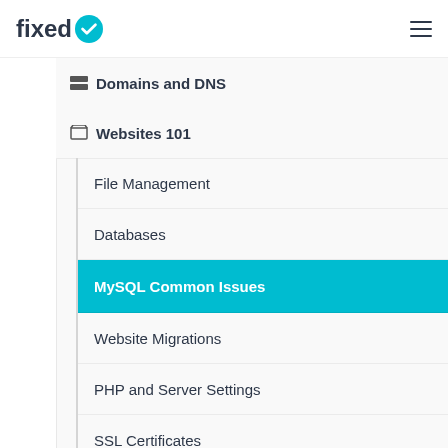fixed
Domains and DNS
Websites 101
File Management
Databases
MySQL Common Issues
Website Migrations
PHP and Server Settings
SSL Certificates
Code Fundamentals
Open Source Software
Boosting Site Visibility